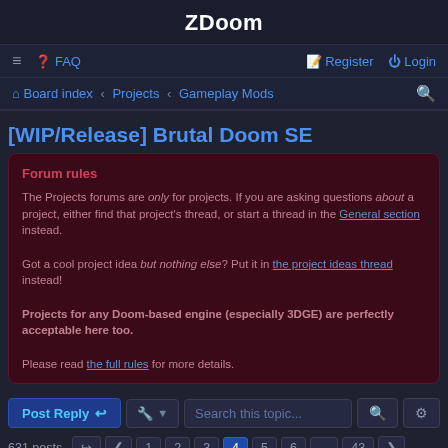ZDoom
☰  ❓ FAQ    Register  Login
🏠 Board index ‹ Projects ‹ Gameplay Mods
[WIP/Release] Brutal Doom SE
Forum rules
The Projects forums are only for projects. If you are asking questions about a project, either find that project's thread, or start a thread in the General section instead.

Got a cool project idea but nothing else? Put it in the project ideas thread instead!

Projects for any Doom-based engine (especially 3DGE) are perfectly acceptable here too.

Please read the full rules for more details.
Post Reply  [tools]  Search this topic...
631 posts  [jump] ‹ 1 2 3 [4] 5 6 ... 43 ›
wildweasel
Moderator Team Lead